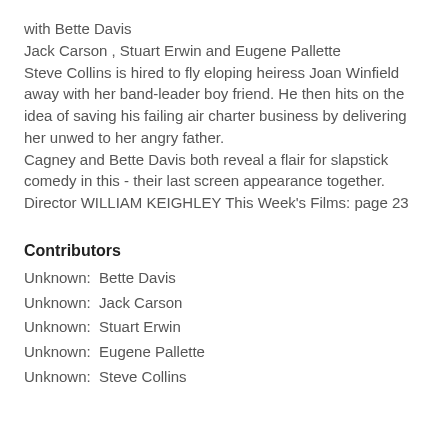with Bette Davis
Jack Carson , Stuart Erwin and Eugene Pallette
Steve Collins is hired to fly eloping heiress Joan Winfield away with her band-leader boy friend. He then hits on the idea of saving his failing air charter business by delivering her unwed to her angry father.
Cagney and Bette Davis both reveal a flair for slapstick comedy in this - their last screen appearance together.
Director WILLIAM KEIGHLEY This Week's Films: page 23
Contributors
Unknown:  Bette Davis
Unknown:  Jack Carson
Unknown:  Stuart Erwin
Unknown:  Eugene Pallette
Unknown:  Steve Collins